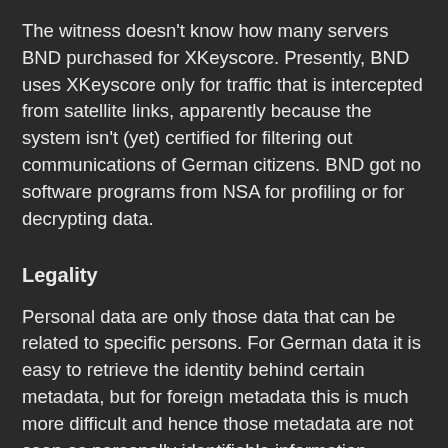The witness doesn't know how many servers BND purchased for XKeyscore. Presently, BND uses XKeyscore only for traffic that is intercepted from satellite links, apparently because the system isn't (yet) certified for filtering out communications of German citizens. BND got no software programs from NSA for profiling or for decrypting data.
Legality
Personal data are only those data that can be related to specific persons. For German data it is easy to retrieve the identity behind certain metadata, but for foreign metadata this is much more difficult and hence those metadata are not seen as personally identifiable information.
The witness said multiple times that he isn't a lawyer and he therefore had no opinion of his own about the legality of certain decisions. He also didn't knew whether data collected in foreign countries had been acquired with or